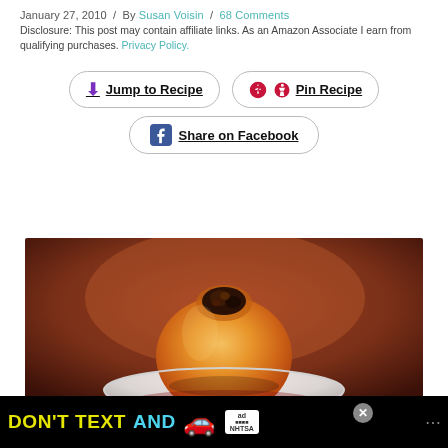January 27, 2010  /  By Susan Voisin  /  68 Comments
Disclosure: This post may contain affiliate links. As an Amazon Associate I earn from qualifying purchases. Privacy Policy.
[Figure (other): Jump to Recipe button, Pin Recipe button, Share on Facebook button]
[Figure (photo): A baked apple filled with dark fruit/raisin filling, sitting on a white plate on a red cloth, photographed close-up]
[Figure (other): Advertisement banner: DON'T TEXT AND [car emoji] with ad logo and NHTSA branding]